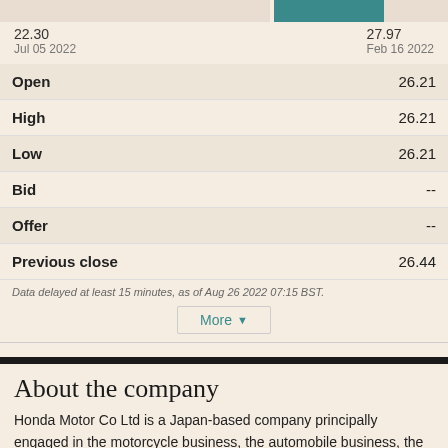[Figure (other): Partial price chart strip showing a teal/colored bar segment]
22.30
Jul 05 2022
27.97
Feb 16 2022
|  |  |
| --- | --- |
| Open | 26.21 |
| High | 26.21 |
| Low | 26.21 |
| Bid | -- |
| Offer | -- |
| Previous close | 26.44 |
Data delayed at least 15 minutes, as of Aug 26 2022 07:15 BST.
More ▼
About the company
Honda Motor Co Ltd is a Japan-based company principally engaged in the motorcycle business, the automobile business, the financial service business and the life creation business. The Company operates through four business se...